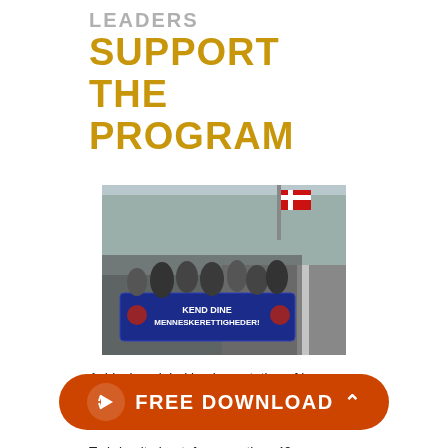LEADERS
SUPPORT THE PROGRAM
[Figure (photo): A group of people marching on a road holding a large blue banner that reads 'KEND DINE MENNESKERETTIGHEDER!' (Know Your Human Rights in Danish), with trees and a flag visible in the background.]
Achieving global implementation of human rights requires widespread human rights education.
To bring it about, for more than 40 years... and t... and supported programs that